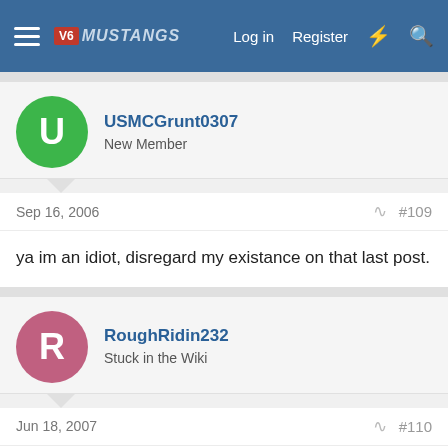V6 Mustangs — Log in | Register
USMCGrunt0307
New Member
Sep 16, 2006  #109
ya im an idiot, disregard my existance on that last post.
RoughRidin232
Stuck in the Wiki
Jun 18, 2007  #110
Okay, I'm fully aware that this thread is as dead as a doornail, forgive me.

I found this back when I was first planning my split port swap, and seeing as how my split port engine had it's throttle bracket